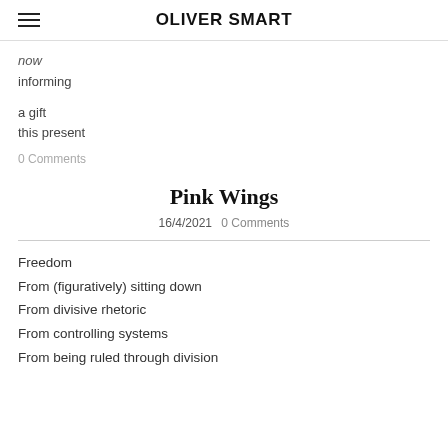OLIVER SMART
now
informing

a gift
this present
0 Comments
Pink Wings
16/4/2021  0 Comments
Freedom
From (figuratively) sitting down
From divisive rhetoric
From controlling systems
From being ruled through division